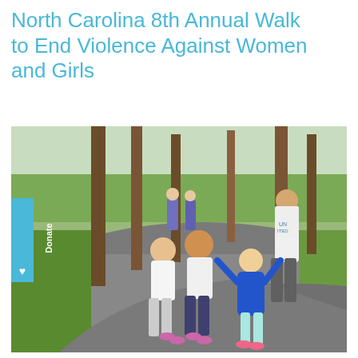North Carolina 8th Annual Walk to End Violence Against Women and Girls
[Figure (photo): Children and adults walking along a paved path through a pine tree park. Two young girls in white event t-shirts walk in front, a small blonde girl in a blue dress waves with arms outstretched, and a teenage boy in a white UNITED t-shirt walks behind. In the background two adults in purple/blue jackets walk along the path. A blue 'Donate' tab with a heart icon is visible on the left side of the image.]